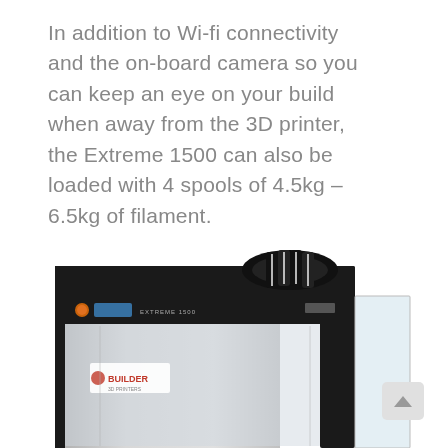In addition to Wi-fi connectivity and the on-board camera so you can keep an eye on your build when away from the 3D printer, the Extreme 1500 can also be loaded with 4 spools of 4.5kg – 6.5kg of filament.
[Figure (photo): Photo of a Builder Extreme 1500 3D printer, shown from the front-left angle. The large industrial printer has a black frame, silver/white body panels, a small control display, and four filament spools mounted on top in a circular holder. The Builder logo is visible on the front door.]